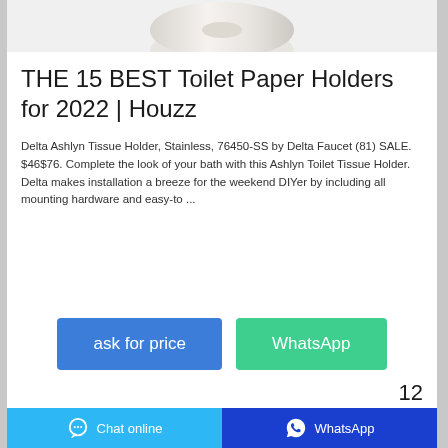[Figure (photo): Partial view of a toilet paper roll against white background]
THE 15 BEST Toilet Paper Holders for 2022 | Houzz
Delta Ashlyn Tissue Holder, Stainless, 76450-SS by Delta Faucet (81) SALE. $46$76. Complete the look of your bath with this Ashlyn Toilet Tissue Holder. Delta makes installation a breeze for the weekend DIYer by including all mounting hardware and easy-to ...
[Figure (screenshot): ask for price button (blue) and WhatsApp button (green)]
12
Chat online   WhatsApp